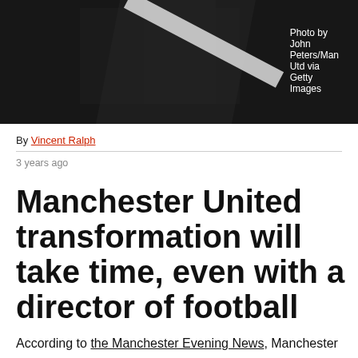[Figure (photo): Dark photo showing a person in a suit, partially visible, dark background with a diagonal light element]
Photo by John Peters/Man Utd via Getty Images
By Vincent Ralph
3 years ago
Manchester United transformation will take time, even with a director of football
According to the Manchester Evening News, Manchester